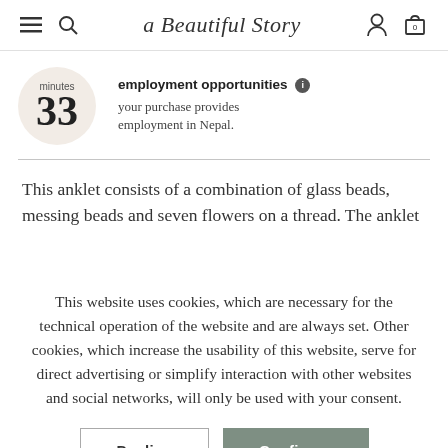a Beautiful Story — navigation bar with menu, search, account, cart (0)
[Figure (infographic): Beige circle with 'minutes' label and large bold '33' number]
employment opportunities — your purchase provides employment in Nepal.
This anklet consists of a combination of glass beads, messing beads and seven flowers on a thread. The anklet
This website uses cookies, which are necessary for the technical operation of the website and are always set. Other cookies, which increase the usability of this website, serve for direct advertising or simplify interaction with other websites and social networks, will only be used with your consent.
Decline | Configure